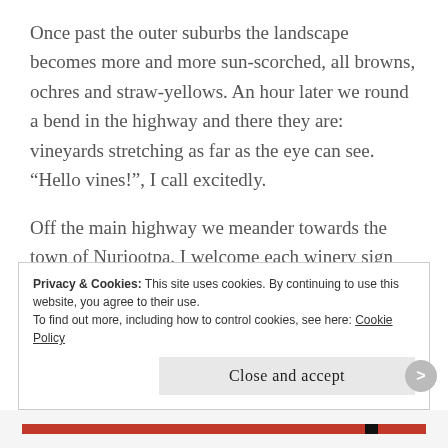Once past the outer suburbs the landscape becomes more and more sun-scorched, all browns, ochres and straw-yellows. An hour later we round a bend in the highway and there they are: vineyards stretching as far as the eye can see. “Hello vines!”, I call excitedly.
Off the main highway we meander towards the town of Nuriootpa. I welcome each winery sign like an old friend: Torbrecks; Richmond Grove; Peter Lehman. We locate our guesthouse and head straight to the cathedral of wineries. Penfolds seems the perfect
Privacy & Cookies: This site uses cookies. By continuing to use this website, you agree to their use.
To find out more, including how to control cookies, see here: Cookie Policy
Close and accept